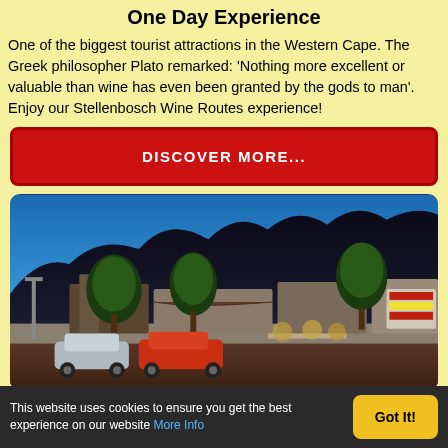One Day Experience
One of the biggest tourist attractions in the Western Cape. The Greek philosopher Plato remarked: ‘Nothing more excellent or valuable than wine has even been granted by the gods to man’. Enjoy our Stellenbosch Wine Routes experience!
DISCOVER MORE...
[Figure (photo): Street-level photo of Stellenbosch town with mountains in background, trees lining the street, cars parked, restaurants and shops visible, taken at dusk/evening with dramatic mountain silhouette against blue sky.]
This website uses cookies to ensure you get the best experience on our website More Info  Got It!